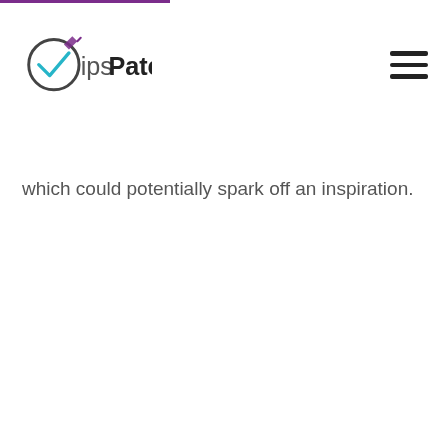VipsPatel
which could potentially spark off an inspiration.